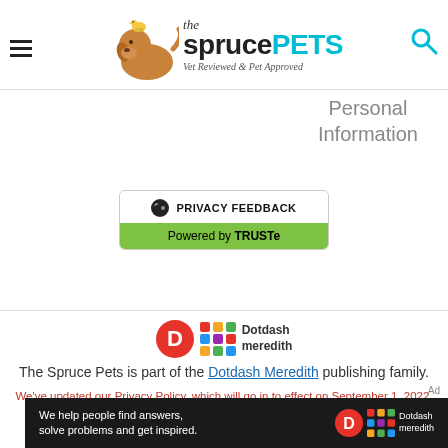[Figure (logo): The Spruce Pets logo with dog and bird illustration, hamburger menu icon, and search icon]
Personal Information
[Figure (logo): Privacy Feedback button powered by TRUSTe widget]
[Figure (logo): Dotdash Meredith logo]
The Spruce Pets is part of the Dotdash Meredith publishing family.
We've updated our Privacy Policy, which will go in to effect on September 1, 2022. Review our Privacy Policy
Ad
[Figure (infographic): Dotdash Meredith dark ad banner: We help people find answers, solve problems and get inspired.]